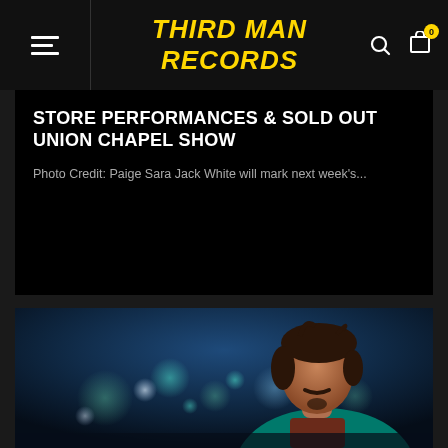THIRD MAN RECORDS
STORE PERFORMANCES & SOLD OUT UNION CHAPEL SHOW
Photo Credit: Paige Sara Jack White will mark next week's...
[Figure (photo): Portrait of a man with dark curly hair and a mustache, wearing a teal jacket, photographed at night with bokeh city lights in the background]